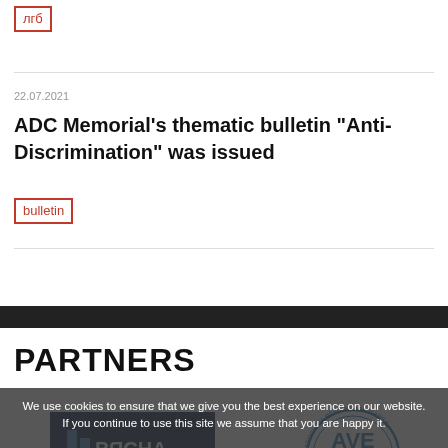лгб
22.07.2021
ADC Memorial’s thematic bulletin “Anti-Discrimination” was issued
bulletin
PARTNERS
We use cookies to ensure that we give you the best experience on our website. If you continue to use this site we assume that you are happy it.
[Figure (logo): Vyasna human rights center logo - dark blue background with Cyrillic text ВЯСНА and subtitle правааабаронічы цэнтр]
[Figure (logo): Asociatia Pentru Abilitarea circular stamp logo with AVE text in center]